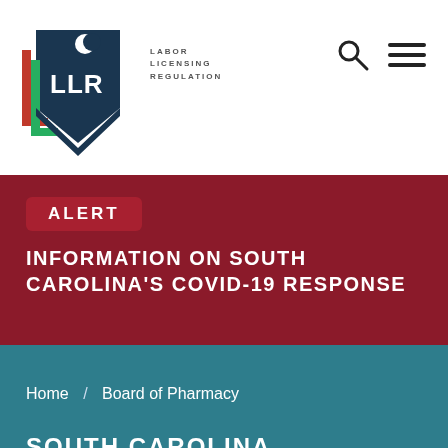[Figure (logo): LLR (Labor Licensing Regulation) South Carolina government logo with shield shape, colorful L brackets and text]
ALERT
INFORMATION ON SOUTH CAROLINA'S COVID-19 RESPONSE
Home / Board of Pharmacy
SOUTH CAROLINA